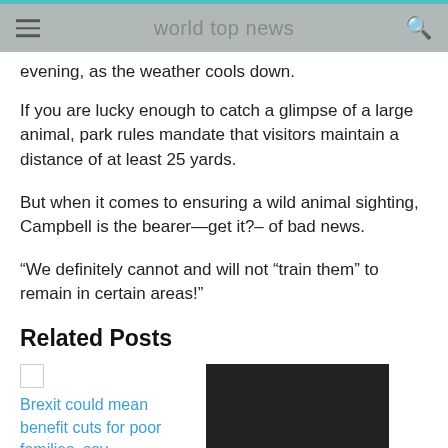world top news
evening, as the weather cools down.
If you are lucky enough to catch a glimpse of a large animal, park rules mandate that visitors maintain a distance of at least 25 yards.
But when it comes to ensuring a wild animal sighting, Campbell is the bearer—get it?– of bad news.
“We definitely cannot and will not “train them” to remain in certain areas!”
Related Posts
Brexit could mean benefit cuts for poor families, say economists
[Figure (photo): Dark/black textured image, likely an animal or night photo]